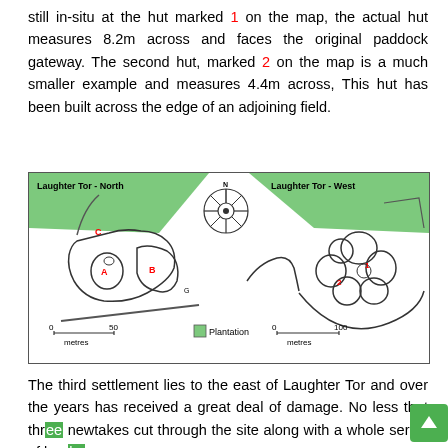still in-situ at the hut marked 1 on the map, the actual hut measures 8.2m across and faces the original paddock gateway. The second hut, marked 2 on the map is a much smaller example and measures 4.4m across, This hut has been built across the edge of an adjoining field.
[Figure (map): Two archaeological site maps side by side: Laughter Tor - North (left) showing hut circles labelled A, B, C with scale 0-50 metres; Laughter Tor - West (right) showing clustered hut circles labelled 1 and 2 with scale 0-100 metres. A north compass rose is shown in the centre top. Green areas indicate Plantation. A legend at bottom centre shows the Plantation symbol.]
The third settlement lies to the east of Laughter Tor and over the years has received a great deal of damage. No less that three newtakes cut through the site along with a whole series of banks